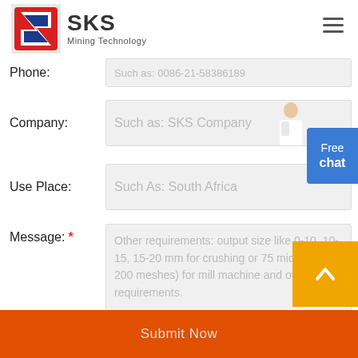[Figure (logo): SKS Mining Technology logo with red and blue angular S shape icon]
Phone:  Such as: 0086-21-58386189
Company:  Such as: SKS Company
Use Place:  Such As: South Africa
Message: * Other requirements: output size like 0-10, 10-15, 15-20 mm for crushing or 75 microns ( 200 meshes) for mill machine and other requirements.
Submit Now